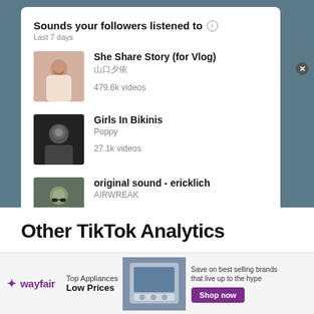Sounds your followers listened to
Last 7 days
She Share Story (for Vlog) | 山口夕依 | 479.6k videos
Girls In Bikinis | Poppy | 27.1k videos
original sound - ericklich | AIRWREAK | 6.0k videos
Other TikTok Analytics
[Figure (screenshot): Wayfair advertisement banner: Top Appliances Low Prices, Save on best selling brands that live up to the hype, Shop now button]